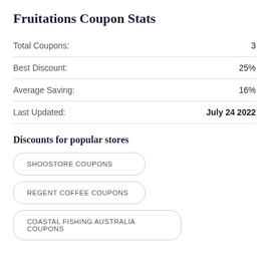Fruitations Coupon Stats
| Label | Value |
| --- | --- |
| Total Coupons: | 3 |
| Best Discount: | 25% |
| Average Saving: | 16% |
| Last Updated: | July 24 2022 |
Discounts for popular stores
SHOOSTORE COUPONS
REGENT COFFEE COUPONS
COASTAL FISHING AUSTRALIA COUPONS